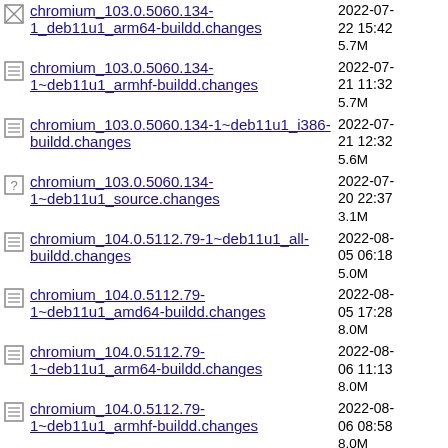chromium_103.0.5060.134-1_deb11u1_arm64-buildd.changes  2022-07-22 15:42  5.7M
chromium_103.0.5060.134-1~deb11u1_armhf-buildd.changes  2022-07-21 11:32  5.7M
chromium_103.0.5060.134-1~deb11u1_i386-buildd.changes  2022-07-21 12:32  5.6M
chromium_103.0.5060.134-1~deb11u1_source.changes  2022-07-20 22:37  3.1M
chromium_104.0.5112.79-1~deb11u1_all-buildd.changes  2022-08-05 06:18  5.0M
chromium_104.0.5112.79-1~deb11u1_amd64-buildd.changes  2022-08-05 17:28  8.0M
chromium_104.0.5112.79-1~deb11u1_arm64-buildd.changes  2022-08-06 11:13  8.0M
chromium_104.0.5112.79-1~deb11u1_armhf-buildd.changes  2022-08-06 08:58  8.0M
chromium_104.0.5112.79-1~deb11u1_i386-buildd.changes  2022-08-05 14:13  8.0M
chromium_104.0.5112.79-1~deb11u1_source.changes  2022-08-05 05:38  5.5M
commons-daemon_1.0.15-8+deb11u1_all-buildd.changes  2022-08-07 05:59  2.2M
commons-daemon_1.0.15-8+deb11u1_amd64-  2022-08-